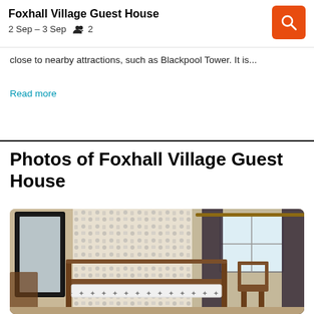Foxhall Village Guest House | 2 Sep – 3 Sep | 2 guests
close to nearby attractions, such as Blackpool Tower. It is...
Read more
Photos of Foxhall Village Guest House
[Figure (photo): Interior photo of a guest room at Foxhall Village Guest House showing bunk beds with star-patterned bedding, a patterned feature wall, a window with dark curtains, a large mirror on the left wall, and wooden furniture.]